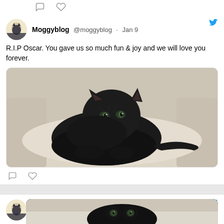[Figure (screenshot): Twitter/social media feed showing two tweet cards from Moggyblog account. First tweet from Jan 9 reads: R.I.P Oscar. You gave us so much fun & joy and we will love you forever. Includes photo of black fluffy cat lying on white cushion. Second tweet from Jun 4, 2021 reads: No more hugs please or I'm not comin' out. love Oscar x. Partially shows image of black cat.]